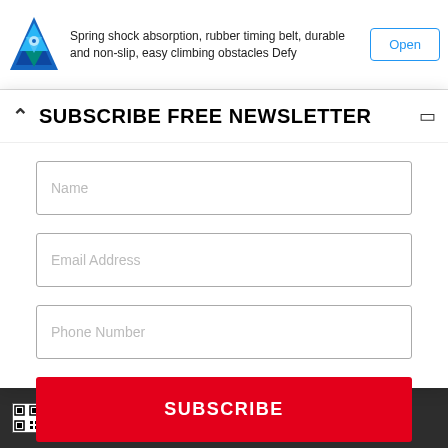[Figure (screenshot): Ad banner with triangular blue/green logo, ad text about spring shock absorption rubber timing belt, and an 'Open' button]
SUBSCRIBE FREE NEWSLETTER
Name
Email Address
Phone Number
SUBSCRIBE
QR code, barcode and payment icon strip